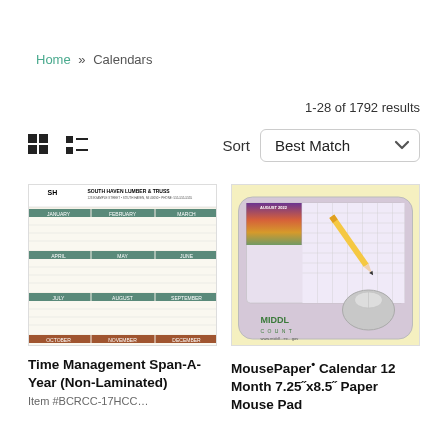Home » Calendars
1-28 of 1792 results
[Figure (screenshot): Grid view and list view toggle icons, Sort label and Best Match dropdown]
[Figure (photo): Time Management Span-A-Year (Non-Laminated) calendar product image showing a full-year wall calendar]
Time Management Span-A-Year (Non-Laminated)
[Figure (photo): MousePaper Calendar 12 Month 7.25x8.5 Paper Mouse Pad product image showing a calendar mouse pad with pencil and computer mouse on yellow background]
MousePaper• Calendar 12 Month 7.25˝x8.5˝ Paper Mouse Pad